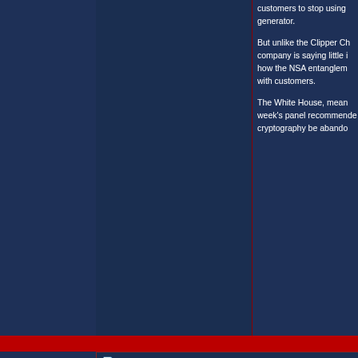customers to stop using generator.
But unlike the Clipper Ch... company is saying little i... how the NSA entanglem... with customers.
The White House, mean... week's panel recommende... cryptography be abando...
December 23rd, 2013, 15:45
American Patriot
Expatriate
[Figure (photo): Avatar image showing an American bald eagle in flight with American flag in background]
Re: Obama Administratio...
HAHAHAHAHAHAHAHAHAHAHA
Oh my GOD.
it is time to SHUT DOWN THE G...
Fucking spying on our own people????????????????????
Assholes.